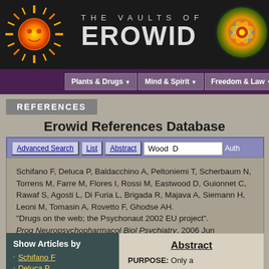[Figure (logo): The Vaults of Erowid website header with sun graphic on left, mandala on right, dark background]
Plants & Drugs | Mind & Spirit | Freedom & Law
REFERENCES
Erowid References Database
Advanced Search | List | Abstract | Wood D | Auth
Schifano F, Deluca P, Baldacchino A, Peltoniemi T, Scherbaum N, Torrens M, Farre M, Flores I, Rossi M, Eastwood D, Guionnet C, Rawaf S, Agosti L, Di Furia L, Brigada R, Majava A, Siemann H, Leoni M, Tomasin A, Rovetto F, Ghodse AH. "Drugs on the web; the Psychonaut 2002 EU project". Prog Neuropsychopharmacol Biol Psychiatry. 2006 Jun 28;30(4):640-6.
Show Articles by
Schifano F
Deluca P
Abstract
PURPOSE: Only a